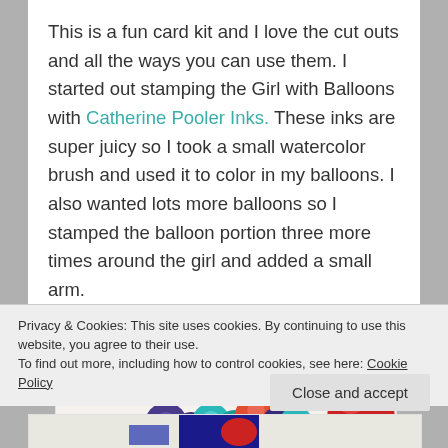This is a fun card kit and I love the cut outs and all the ways you can use them. I started out stamping the Girl with Balloons with Catherine Pooler Inks. These inks are super juicy so I took a small watercolor brush and used it to color in my balloons. I also wanted lots more balloons so I stamped the balloon portion three more times around the girl and added a small arm.
[Figure (illustration): Partial view of a stamped card showing colorful balloons (purple, teal, red, orange) clustered together with a large red balloon on the right and what appears to be a brown string or arm.]
Privacy & Cookies: This site uses cookies. By continuing to use this website, you agree to their use.
To find out more, including how to control cookies, see here: Cookie Policy
[Figure (illustration): Bottom strip showing partial view of another stamped card image with blue and red elements.]